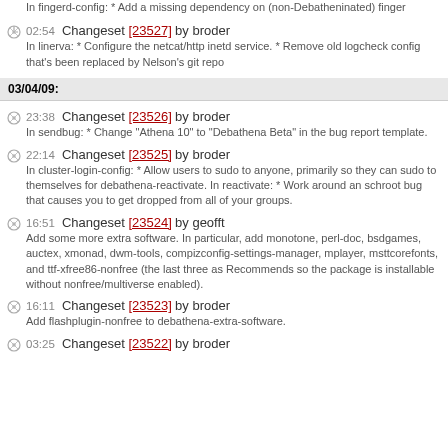In fingerd-config: * Add a missing dependency on (non-Debatheninated) finger
02:54 Changeset [23527] by broder — In linerva: * Configure the netcat/http inetd service. * Remove old logcheck config that's been replaced by Nelson's git repo
03/04/09:
23:38 Changeset [23526] by broder — In sendbug: * Change "Athena 10" to "Debathena Beta" in the bug report template.
22:14 Changeset [23525] by broder — In cluster-login-config: * Allow users to sudo to anyone, primarily so they can sudo to themselves for debathena-reactivate. In reactivate: * Work around an schroot bug that causes you to get dropped from all of your groups.
16:51 Changeset [23524] by geofft — Add some more extra software. In particular, add monotone, perl-doc, bsdgames, auctex, xmonad, dwm-tools, compizconfig-settings-manager, mplayer, msttcorefonts, and ttf-xfree86-nonfree (the last three as Recommends so the package is installable without nonfree/multiverse enabled).
16:11 Changeset [23523] by broder — Add flashplugin-nonfree to debathena-extra-software.
03:25 Changeset [23522] by broder